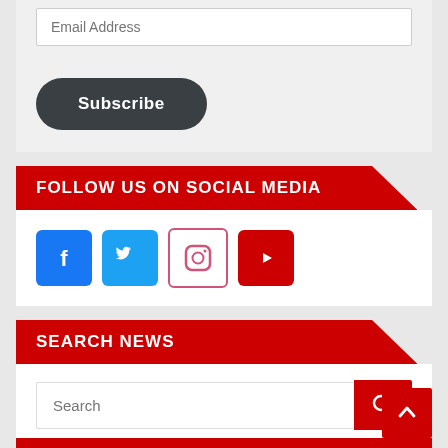Email Address
Subscribe
FOLLOW US ON SOCIAL MEDIA
[Figure (other): Social media icons: Facebook, Twitter, Instagram, YouTube]
SEARCH NEWS
Search